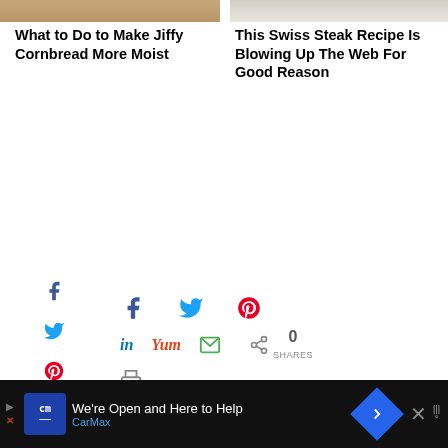[Figure (photo): Top partial images of two food articles - left shows cornbread, right shows Swiss steak]
What to Do to Make Jiffy Cornbread More Moist
This Swiss Steak Recipe Is Blowing Up The Web For Good Reason
[Figure (infographic): Social sharing icons sidebar and main share bar with Facebook, Twitter, Pinterest, LinkedIn, Yum, Email, Share, Print icons. Shows 0 SHARES count.]
Filed Under: Featured, Gifts, Health & Safety, Kids, Product Reviews, Smart Ideas
Tagged With: clean toothbrush, flipper toothbrush holder, hello kitty toothbrush holder, NFL toothbrush holder, toothbrush holder
« My Toddler Climbed Out of His Crib!
[Figure (infographic): CarMax advertisement banner: We're Open and Here to Help, CarMax logo in blue, navigation arrow icon on right]